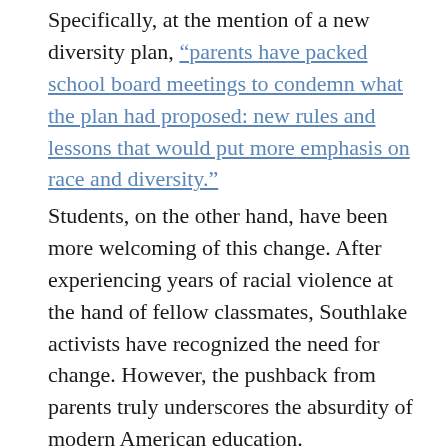Specifically, at the mention of a new diversity plan, “parents have packed school board meetings to condemn what the plan had proposed: new rules and lessons that would put more emphasis on race and diversity.”
Students, on the other hand, have been more welcoming of this change. After experiencing years of racial violence at the hand of fellow classmates, Southlake activists have recognized the need for change. However, the pushback from parents truly underscores the absurdity of modern American education.
Instead of recognizing that maybe a “viral video of white high schoolers chanting the N-word” should warrant a change in the school’s inclusion policy, parents seemed to double down on the continuation of an unsafe environment